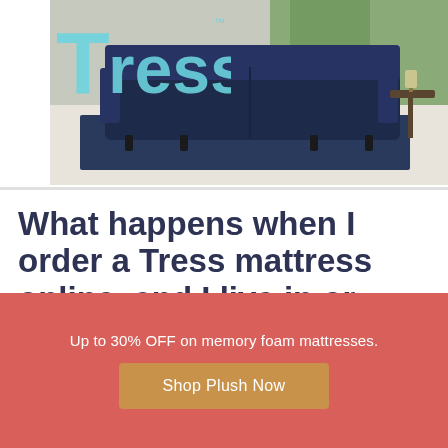[Figure (photo): Tress brand banner photo showing a navy blue sofa/mattress on a rug in a modern room, with the Tress logo overlaid in light blue text at top left]
What happens when I order a Tress mattress online, and I live in or near Midwood, New York 11230?
Up to 30% OFF on memory foam mattresses.
Shop Plush Now